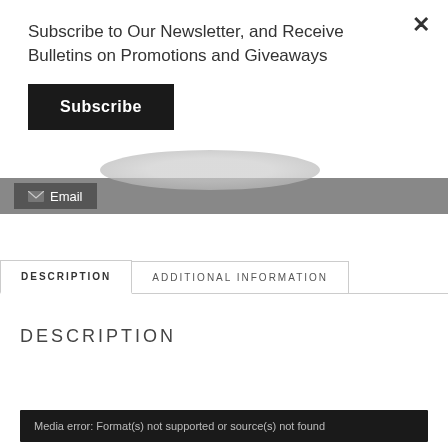Subscribe to Our Newsletter, and Receive Bulletins on Promotions and Giveaways
Subscribe
[Figure (screenshot): Email subscription bar with envelope icon and Email label on grey background]
DESCRIPTION
ADDITIONAL INFORMATION
DESCRIPTION
Media error: Format(s) not supported or source(s) not found